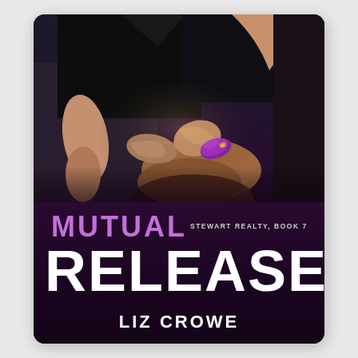[Figure (illustration): Book cover for 'Mutual Release' by Liz Crowe. Stewart Realty, Book 7. Upper portion shows a dark photographic image of two people — a man in a black shirt and a woman with her wrists bound in purple/magenta handcuffs, hands clasped together, seated. Lower portion has a deep purple/dark background with the title 'MUTUAL RELEASE' and author name 'LIZ CROWE'.]
MUTUAL RELEASE
STEWART REALTY, BOOK 7
LIZ CROWE